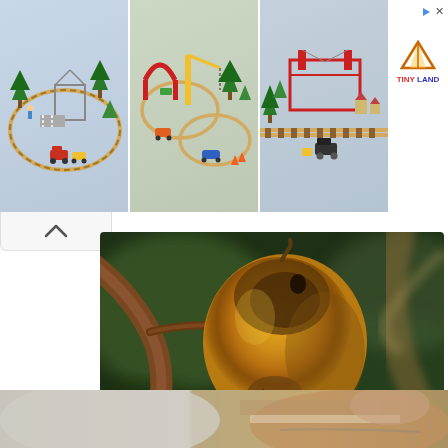[Figure (photo): Advertisement banner showing three images of wooden toy train sets in different configurations, with a 'Tiny Land' logo on the right side. There are play/close icons in the top right corner of the ad.]
[Figure (photo): Close-up photograph of a yellow-orange fruit (possibly a quince or apple) hanging on a branch, showing signs of decay or insect damage. The background is blurred green and brown tones.]
One Bite of This Keeps Blood Sugar Below 100 (Try Tonight)
Actavis Discovery
[Figure (photo): Partial photo showing what appears to be shoes/sneakers on a person, cropped at the bottom of the page.]